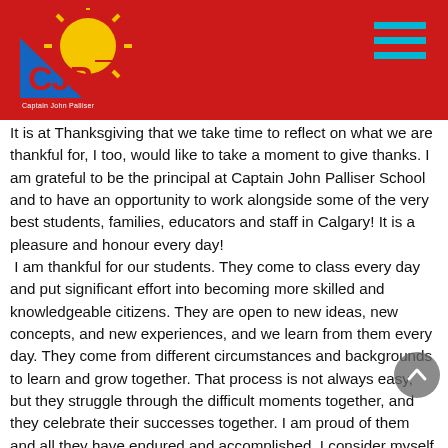[Figure (logo): Captain John Palliser School logo with sun and CJP letters in red, blue, yellow]
It is at Thanksgiving that we take time to reflect on what we are thankful for, I too, would like to take a moment to give thanks. I am grateful to be the principal at Captain John Palliser School and to have an opportunity to work alongside some of the very best students, families, educators and staff in Calgary!  It is a pleasure and honour every day!
 I am thankful for our students. They come to class every day and put significant effort into becoming more skilled and knowledgeable citizens. They are open to new ideas, new concepts, and new experiences, and we learn from them every day. They come from different circumstances and backgrounds to learn and grow together. That process is not always easy, but they struggle through the difficult moments together, and they celebrate their successes together. I am proud of them and all they have endured and accomplished,  I consider myself lucky to lead their school.
The parents at Captain John Palliser School are the most engaged and enthusiastic I have ever worked with. CJP would not be what it is without their support and the effective partnerships they have created with our staff. We only need to look at the great turn-out from our last School Council meeting to know how very engaged